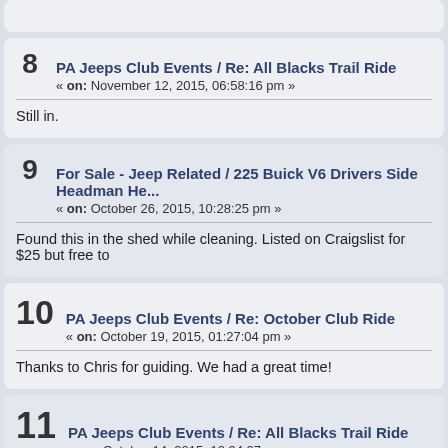8 | PA Jeeps Club Events / Re: All Blacks Trail Ride
« on: November 12, 2015, 06:58:16 pm »
Still in.
9 | For Sale - Jeep Related / 225 Buick V6 Drivers Side Headman He...
« on: October 26, 2015, 10:28:25 pm »
Found this in the shed while cleaning. Listed on Craigslist for $25 but free to...
10 | PA Jeeps Club Events / Re: October Club Ride
« on: October 19, 2015, 01:27:04 pm »
Thanks to Chris for guiding. We had a great time!
11 | PA Jeeps Club Events / Re: All Blacks Trail Ride
« on: October 14, 2015, 12:34:07 pm »